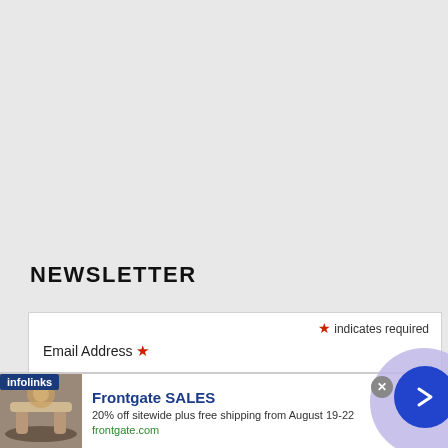NEWSLETTER
* indicates required
Email Address *
[Figure (screenshot): Infolinks advertisement overlay showing Frontgate SALES promotion: '20% off sitewide plus free shipping from August 19-22' with frontgate.com domain, outdoor furniture image, close button, and arrow navigation button]